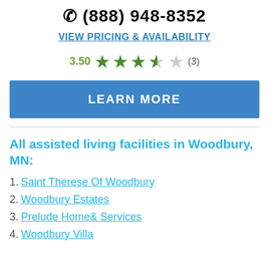(888) 948-8352
VIEW PRICING & AVAILABILITY
3.50 ★★★½☆ (3)
LEARN MORE
All assisted living facilities in Woodbury, MN:
1. Saint Therese Of Woodbury
2. Woodbury Estates
3. Prelude Home& Services
4. Woodbury Villa